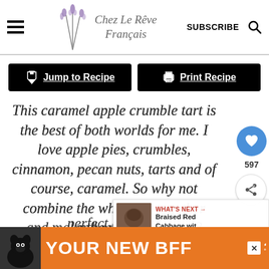Chez Le Rêve Français — SUBSCRIBE
[Figure (screenshot): Navigation buttons: Jump to Recipe and Print Recipe on black backgrounds]
This caramel apple crumble tart is the best of both worlds for me. I love apple pies, crumbles, cinnamon, pecan nuts, tarts and of course, caramel. So why not combine the whole lot together and make the perfect dessert?
[Figure (infographic): Ad banner: YOUR NEW BFF with dog image on orange background]